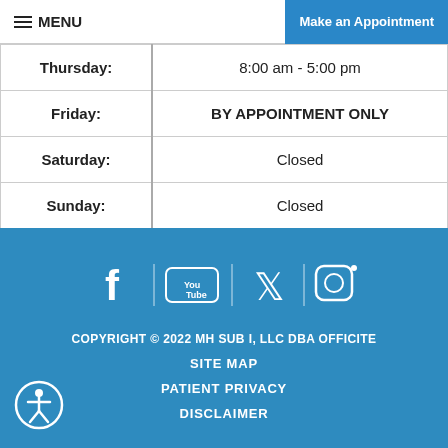≡ MENU | Make an Appointment
| Day | Hours |
| --- | --- |
| Thursday: | 8:00 am - 5:00 pm |
| Friday: | BY APPOINTMENT ONLY |
| Saturday: | Closed |
| Sunday: | Closed |
[Figure (illustration): Social media icons: Facebook, YouTube, Twitter, Instagram]
COPYRIGHT © 2022 MH SUB I, LLC DBA OFFICITE
SITE MAP
PATIENT PRIVACY
DISCLAIMER
[Figure (illustration): Accessibility icon - person in circle]